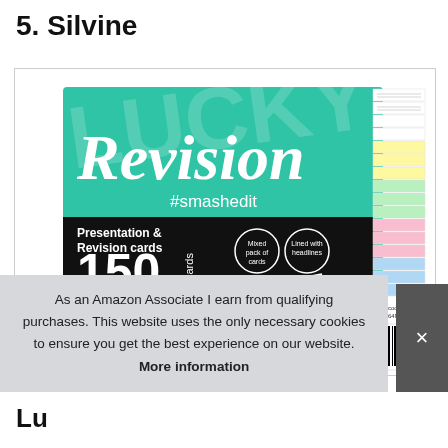5. Silvine
[Figure (photo): Product photo of Silvine Revision & Presentation cards pack – green background with 'Revision #smashedit' text, black strip showing '150 cards', Silvine logo, and a stack of multicolored lined index cards on the right.]
As an Amazon Associate I earn from qualifying purchases. This website uses the only necessary cookies to ensure you get the best experience on our website. More information
Lu